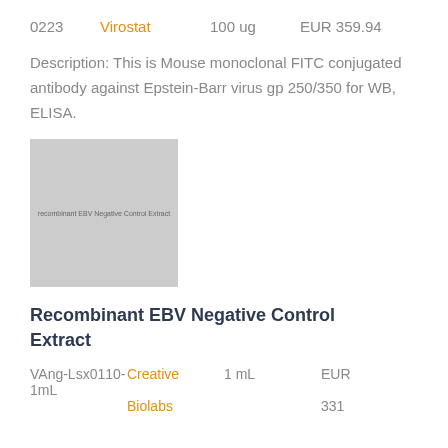0223   Virostat   100 ug   EUR 359.94
Description: This is Mouse monoclonal FITC conjugated antibody against Epstein-Barr virus gp 250/350 for WB, ELISA.
[Figure (photo): Product image placeholder showing recombinant EBV Negative Control Extract label]
Recombinant EBV Negative Control Extract
VAng-Lsx0110-1mL   Creative Biolabs   1 mL   EUR 331